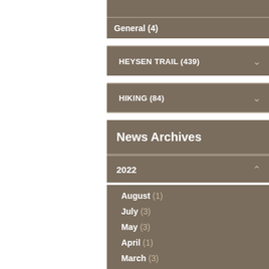General (4)
HEYSEN TRAIL (439)
HIKING (84)
News Archives
2022
August (1)
July (3)
May (3)
April (1)
March (3)
February (1)
January (1)